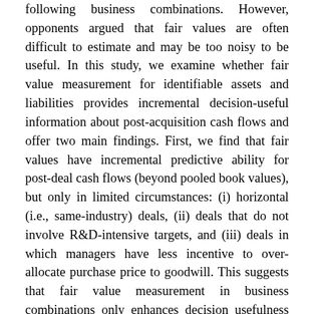following business combinations. However, opponents argued that fair values are often difficult to estimate and may be too noisy to be useful. In this study, we examine whether fair value measurement for identifiable assets and liabilities provides incremental decision-useful information about post-acquisition cash flows and offer two main findings. First, we find that fair values have incremental predictive ability for post-deal cash flows (beyond pooled book values), but only in limited circumstances: (i) horizontal (i.e., same-industry) deals, (ii) deals that do not involve R&D-intensive targets, and (iii) deals in which managers have less incentive to over-allocate purchase price to goodwill. This suggests that fair value measurement in business combinations only enhances decision usefulness in transactions when fair values are more reliably estimable and/or less subject to manager incentives. Second, we find that analysts update their cash flow forecasts to reflect the information provided by fair value disclosures, but only in transactions where we find that fair values are decision useful. Overall, our results suggest that there are limits in the extent to which fair value measurement for acquired identifiable assets